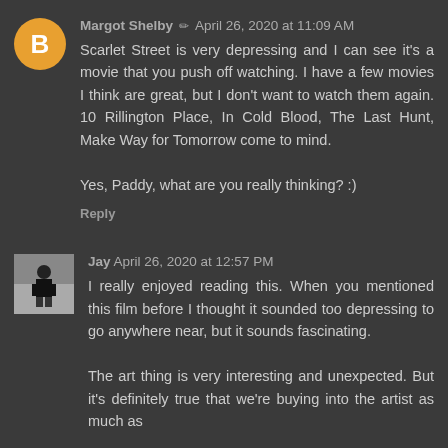Margot Shelby ✏ April 26, 2020 at 11:09 AM
Scarlet Street is very depressing and I can see it's a movie that you push off watching. I have a few movies I think are great, but I don't want to watch them again. 10 Rillington Place, In Cold Blood, The Last Hunt, Make Way for Tomorrow come to mind.

Yes, Paddy, what are you really thinking? :)
Reply
Jay April 26, 2020 at 12:57 PM
I really enjoyed reading this. When you mentioned this film before I thought it sounded too depressing to go anywhere near, but it sounds fascinating.

The art thing is very interesting and unexpected. But it's definitely true that we're buying into the artist as much as